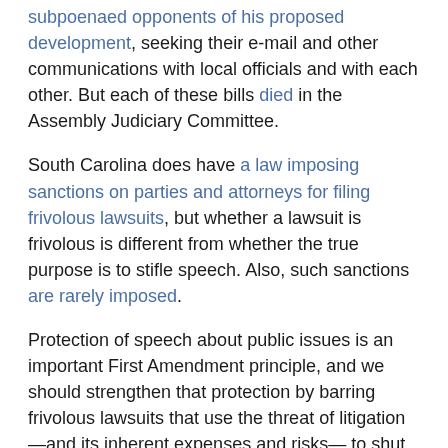subpoenaed opponents of his proposed development, seeking their e-mail and other communications with local officials and with each other. But each of these bills died in the Assembly Judiciary Committee.
South Carolina does have a law imposing sanctions on parties and attorneys for filing frivolous lawsuits, but whether a lawsuit is frivolous is different from whether the true purpose is to stifle speech. Also, such sanctions are rarely imposed.
Protection of speech about public issues is an important First Amendment principle, and we should strengthen that protection by barring frivolous lawsuits that use the threat of litigation—and its inherent expenses and risks—to shut down legitimate discussion of public issues and controversies. South Carolina should bolster its protections for free speech by passing an anti-SLAPP statute in the near future.
Court Rules on Prison Phone Call Tapes